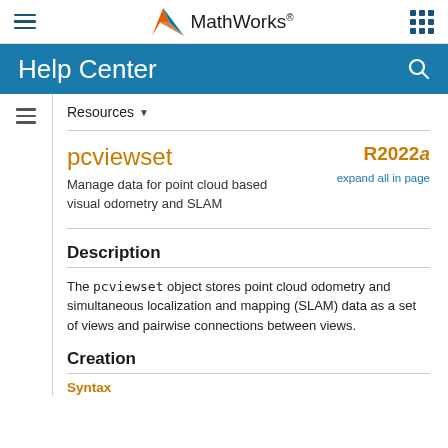MathWorks Help Center
pcviewset
Manage data for point cloud based visual odometry and SLAM
R2022a expand all in page
Description
The pcviewset object stores point cloud odometry and simultaneous localization and mapping (SLAM) data as a set of views and pairwise connections between views.
Creation
Syntax